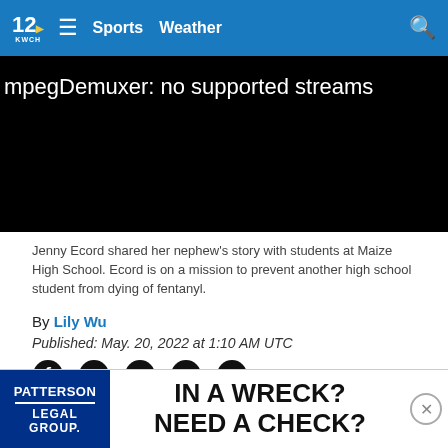12 KWCH | Sports | Weather
[Figure (screenshot): Video player showing error message: mpegDemuxer: no supported streams on black background]
Jenny Ecord shared her nephew's story with students at Maize High School. Ecord is on a mission to prevent another high school student from dying of fentanyl.
By Lily Wu
Published: May. 20, 2022 at 1:10 AM UTC
[Figure (infographic): Social share icons: Facebook, Email, Twitter, Pinterest, LinkedIn]
MAIZE, Kan. (KWCH) - Pills laced with potentially fatal amounts of fentanyl are in our communities and families are ope...edy in hopes ...e
[Figure (infographic): Advertisement banner: Patterson Legal Group - IN A WRECK? NEED A CHECK?]